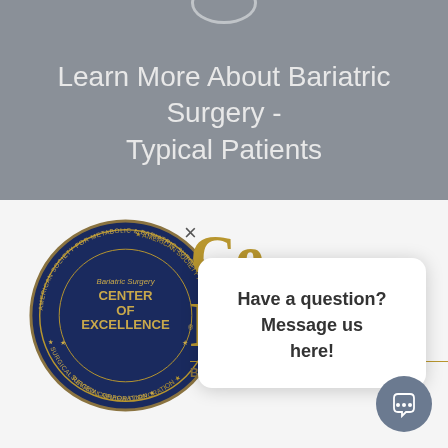Learn More About Bariatric Surgery - Typical Patients
[Figure (logo): American Society for Metabolic & Bariatric Surgery - Bariatric Surgery Center of Excellence badge, Surgical Review Corporation seal, circular navy blue with gold text]
[Figure (logo): Partially visible Center of Excellence Bariatric Surgery logo with gold lettering]
Have a question? Message us here!